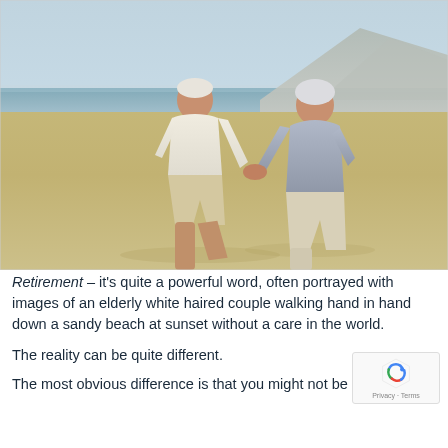[Figure (photo): An elderly couple walking hand in hand on a sandy beach, viewed from behind. The man wears white shorts and a light shirt, the woman wears a blue-grey top and light trousers. Ocean and mountains are visible in the background. Clear daytime sky.]
Retirement – it's quite a powerful word, often portrayed with images of an elderly white haired couple walking hand in hand down a sandy beach at sunset without a care in the world.
The reality can be quite different.
The most obvious difference is that you might not be